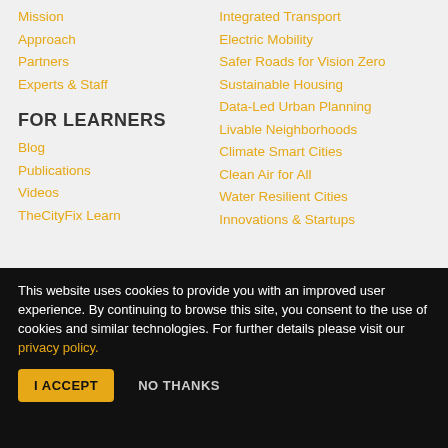Mission
Approach
Partners
Experts & Staff
FOR LEARNERS
Blog
Publications
Videos
TheCityFix Learn
Integrated Transport
Electric Mobility
Safer Roads for Vision Zero
Sustainable Housing
Data-Led Urban Planning
Livable Neighborhoods
Climate Smart Cities
Clean Air for All
Water Resilient Cities
Innovations & Startups
This website uses cookies to provide you with an improved user experience. By continuing to browse this site, you consent to the use of cookies and similar technologies. For further details please visit our privacy policy.
I ACCEPT   NO THANKS